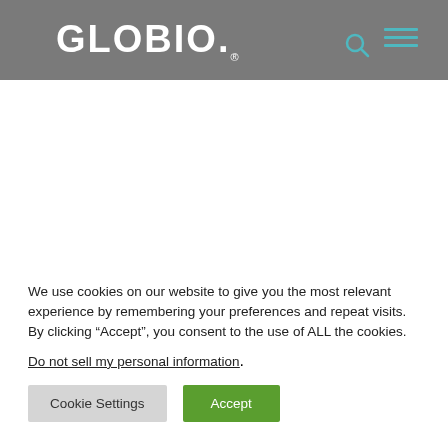GLOBIO.
[Figure (screenshot): White empty content area below the GLOBIO header navigation bar]
We use cookies on our website to give you the most relevant experience by remembering your preferences and repeat visits. By clicking “Accept”, you consent to the use of ALL the cookies.
Do not sell my personal information.
Cookie Settings
Accept